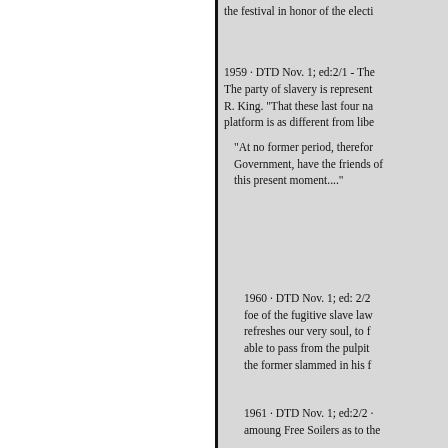the festival in honor of the electi
1959 · DTD Nov. 1; ed:2/1 - The The party of slavery is represent R. King. "That these last four na platform is as different from libe
"At no former period, therefor Government, have the friends of this present moment...."
1960 · DTD Nov. 1; ed: 2/2 foe of the fugitive slave law refreshes our very soul, to f able to pass from the pulpit the former slammed in his f
1961 · DTD Nov. 1; ed:2/2 · amoung Free Soilers as to the